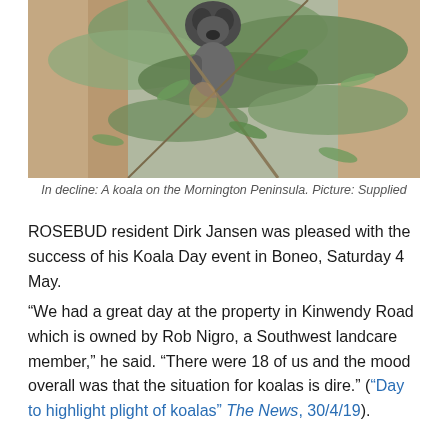[Figure (photo): A koala among eucalyptus branches on the Mornington Peninsula]
In decline: A koala on the Mornington Peninsula. Picture: Supplied
ROSEBUD resident Dirk Jansen was pleased with the success of his Koala Day event in Boneo, Saturday 4 May.
“We had a great day at the property in Kinwendy Road which is owned by Rob Nigro, a Southwest landcare member,” he said. “There were 18 of us and the mood overall was that the situation for koalas is dire.” (“Day to highlight plight of koalas” The News, 30/4/19).